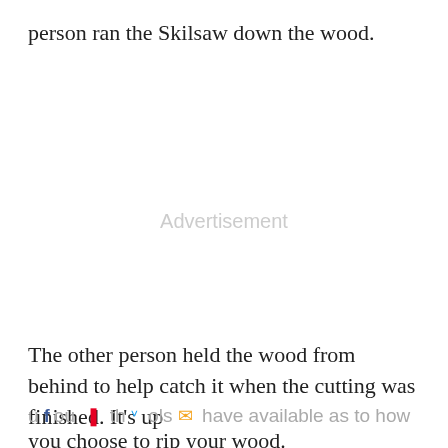person ran the Skilsaw down the wood.
[Figure (other): Advertisement placeholder area]
The other person held the wood from behind to help catch it when the cutting was finished. It’s up to you, the tools you have available as to how you choose to rip your wood.